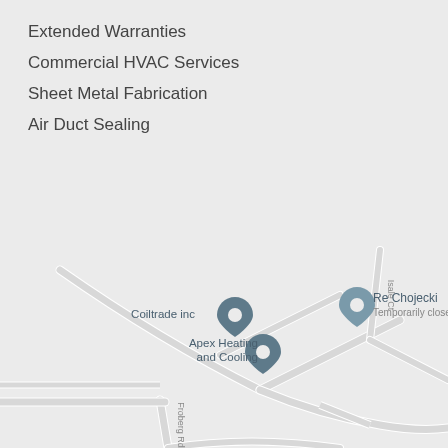Extended Warranties
Commercial HVAC Services
Sheet Metal Fabrication
Air Duct Sealing
[Figure (map): Google Maps screenshot showing local area map with markers for 'Coiltrade inc', 'Apex Heating and Cooling', and 'Re Chojecki (Temporarily closed)'. Roads include Froberg Rd and Isale Ct.]